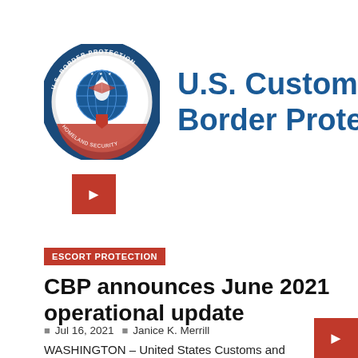[Figure (logo): U.S. Customs and Border Protection official seal — circular seal with eagle, globe, and text 'U.S. Border Protection' and 'Homeland Security']
U.S. Customs and Border Protection
[Figure (other): Small red square button with arrow/chevron icon]
ESCORT PROTECTION
CBP announces June 2021 operational update
Jul 16, 2021  Janice K. Merrill
WASHINGTON – United States Customs and Border Protection (CBP) today released
[Figure (other): Small red square button with arrow/chevron icon (bottom right)]